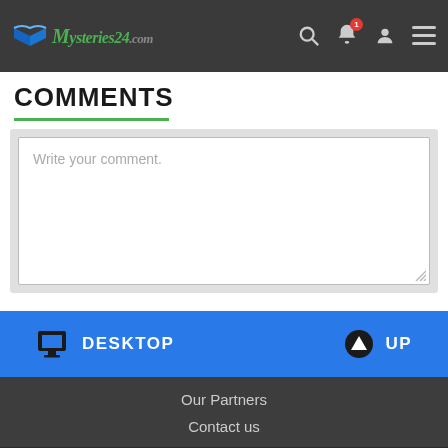Mysteries24.com
COMMENTS
Write your comment.
DESKTOP   UP
Our Partners
Contact us
POPULAR